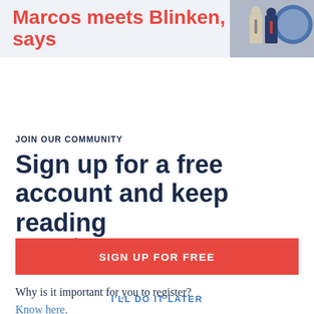[Figure (photo): News article header showing text 'Marcos meets Blinken, says' in red on a light blue background, with a photo of two men in suits on the right side]
X
JOIN OUR COMMUNITY
Sign up for a free account and keep reading
You're still free to read and discover more Rappler articles.
Why is it important for you to register?
Know here.
SIGN UP FOR FREE
I'LL DO IT LATER